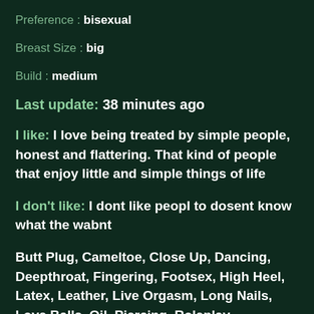Preference : bisexual
Breast Size : big
Build : medium
Last update: 38 minutes ago
I like: I love being treated by simple people, honest and flattering. That kind of people that enjoy little and simple things of life
I don't like: I dont like peopl to dosent know what the wabnt
Butt Plug, Cameltoe, Close Up, Dancing, Deepthroat, Fingering, Footsex, High Heel, Latex, Leather, Live Orgasm, Long Nails, Love Balls, Oil, Piercing, Roleplay